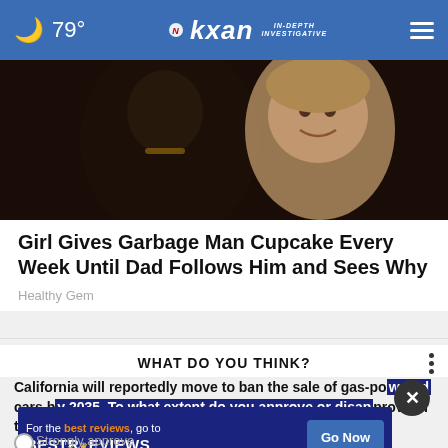🌙 79° | KXAN IN-DEPTH INVESTIGATIVE
[Figure (photo): Photo of two people close together, one adult and one young child smiling]
Girl Gives Garbage Man Cupcake Every Week Until Dad Follows Him and Sees Why
Healthy Gem
WHAT DO YOU THINK?
California will reportedly move to ban the sale of gas-powered cars by 2035. To what extent do you approve or disapprove of this policy?
[Figure (other): Advertisement banner: For the best reviews, go to BESTREVIEWS with Go Now button]
Strongly approve